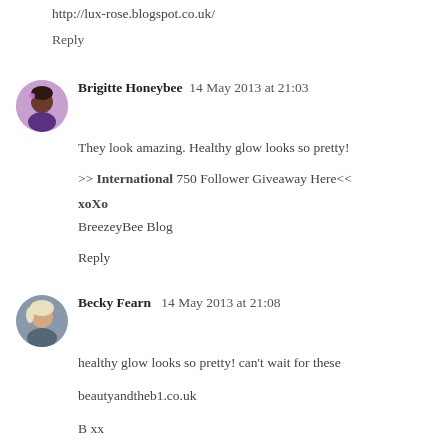http://lux-rose.blogspot.co.uk/
Reply
Brigitte Honeybee  14 May 2013 at 21:03
They look amazing. Healthy glow looks so pretty!

>> International 750 Follower Giveaway Here<<
xoXo
BreezeyBee Blog

Reply
Becky Fearn   14 May 2013 at 21:08
healthy glow looks so pretty! can't wait for these

beautyandtheb1.co.uk

B xx